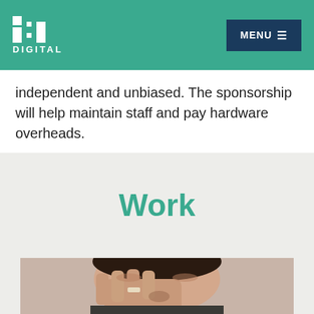JIL DIGITAL | MENU
independent and unbiased. The sponsorship will help maintain staff and pay hardware overheads.
Work
[Figure (photo): Close-up photo of a man with dark hair and mustache, eyes closed, holding his hand up to his face with a ring on his finger.]